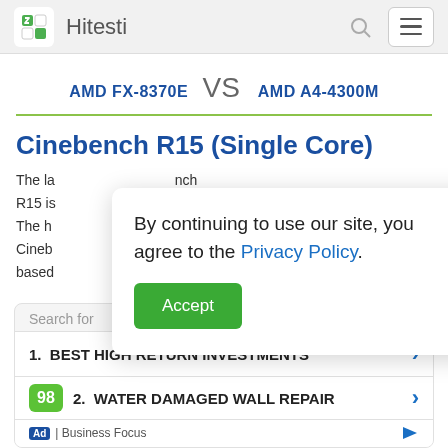Hitesti
AMD FX-8370E VS AMD A4-4300M
Cinebench R15 (Single Core)
The latest version of Cinebench R15 is a rendering test. The highest single-core performance version of Cinebench based...
By continuing to use our site, you agree to the Privacy Policy. [Accept button]
[Figure (screenshot): Advertisement block with search links: 1. BEST HIGH RETURN INVESTMENTS, 2. WATER DAMAGED WALL REPAIR. Score badge showing 98.]